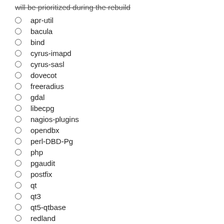will be prioritized during the rebuild
apr-util
bacula
bind
cyrus-imapd
cyrus-sasl
dovecot
freeradius
gdal
libecpg
nagios-plugins
opendbx
perl-DBD-Pg
php
pgaudit
postfix
qt
qt3
qt5-qtbase
redland
rsyslog